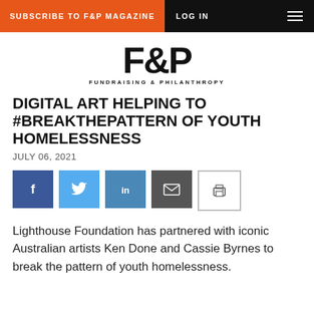SUBSCRIBE TO F&P MAGAZINE  LOG IN
[Figure (logo): F&P Fundraising & Philanthropy magazine logo, large bold black F&P text with smaller subtitle FUNDRAISING & PHILANTHROPY]
DIGITAL ART HELPING TO #BREAKTHEPATTERN OF YOUTH HOMELESSNESS
JULY 06, 2021
[Figure (infographic): Social sharing buttons row: Facebook (blue), Twitter (light blue), LinkedIn (blue), Email (dark grey), Print (white with border)]
Lighthouse Foundation has partnered with iconic Australian artists Ken Done and Cassie Byrnes to break the pattern of youth homelessness.